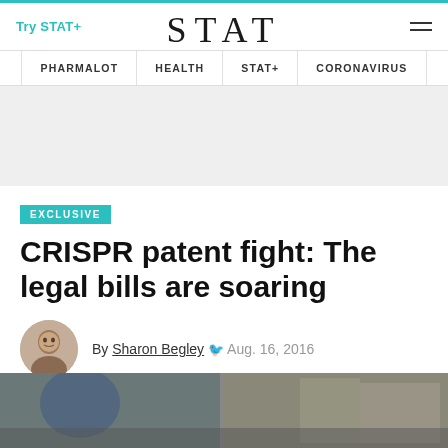Try STAT+   STAT   [menu]
PHARMALOT   HEALTH   STAT+   CORONAVIRUS
EXCLUSIVE
CRISPR patent fight: The legal bills are soaring
By Sharon Begley  Aug. 16, 2016
[Figure (photo): Bottom photo strip showing a blurred indoor scene with a person in blue and a corridor with glass doors]